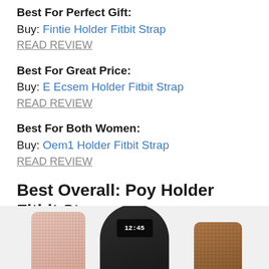Best For Perfect Gift:
Buy: Fintie Holder Fitbit Strap
READ REVIEW
Best For Great Price:
Buy: E Ecsem Holder Fitbit Strap
READ REVIEW
Best For Both Women:
Buy: Oem1 Holder Fitbit Strap
READ REVIEW
Best Overall: Poy Holder Fitbit Strap
[Figure (photo): Fitbit Holder Strap product photo showing a black band in center with a pink-rose gold band on left and brown band on right, screen displaying 12:45]